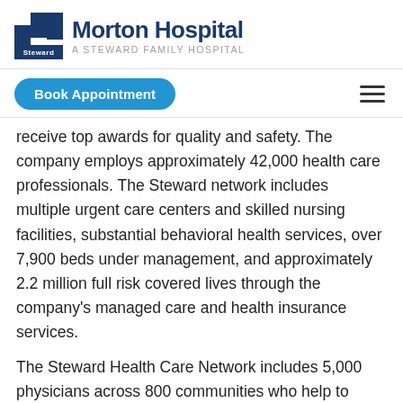[Figure (logo): Morton Hospital — A Steward Family Hospital logo with blue Steward icon and bold dark blue text]
[Figure (other): Navigation bar with 'Book Appointment' teal button and hamburger menu icon]
receive top awards for quality and safety. The company employs approximately 42,000 health care professionals. The Steward network includes multiple urgent care centers and skilled nursing facilities, substantial behavioral health services, over 7,900 beds under management, and approximately 2.2 million full risk covered lives through the company's managed care and health insurance services.
The Steward Health Care Network includes 5,000 physicians across 800 communities who help to provide more than 12 million patient